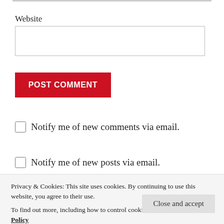Website
POST COMMENT
Notify me of new comments via email.
Notify me of new posts via email.
Privacy & Cookies: This site uses cookies. By continuing to use this website, you agree to their use.
To find out more, including how to control cookies, see here: Cookie Policy
Close and accept
[Figure (screenshot): Colorful banner image with text '#book review #transworld' on purple/blue gradient background]